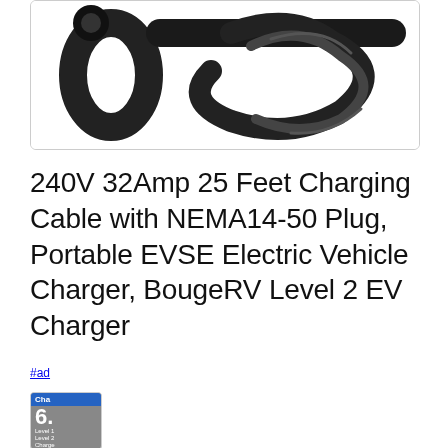[Figure (photo): Close-up photo of a black EV charging cable with coiled cable visible, white background, inside a rounded rectangle border]
240V 32Amp 25 Feet Charging Cable with NEMA14-50 Plug, Portable EVSE Electric Vehicle Charger, BougeRV Level 2 EV Charger
#ad
[Figure (photo): Partial thumbnail image showing a blue label and the number 6 in white, related to a Level 2 EV charger product]
As an Amazon Associate I earn from qualifying purchases. This website uses the only necessary cookies to ensure you get the best experience on our website. More information